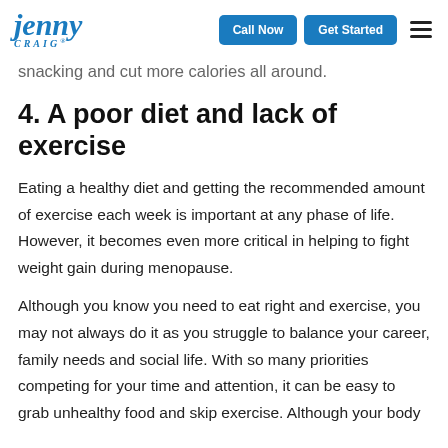Jenny Craig | Call Now | Get Started
snacking and cut more calories all around.
4. A poor diet and lack of exercise
Eating a healthy diet and getting the recommended amount of exercise each week is important at any phase of life. However, it becomes even more critical in helping to fight weight gain during menopause.
Although you know you need to eat right and exercise, you may not always do it as you struggle to balance your career, family needs and social life. With so many priorities competing for your time and attention, it can be easy to grab unhealthy food and skip exercise. Although your body